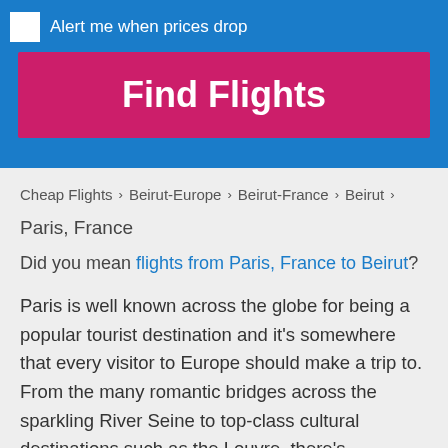Alert me when prices drop
Find Flights
Cheap Flights > Beirut-Europe > Beirut-France > Beirut > Paris, France
Did you mean flights from Paris, France to Beirut?
Paris is well known across the globe for being a popular tourist destination and it's somewhere that every visitor to Europe should make a trip to. From the many romantic bridges across the sparkling River Seine to top-class cultural destinations such as the Louvre, there's something for everyone to do here. Notre Dame Cathedral provides a